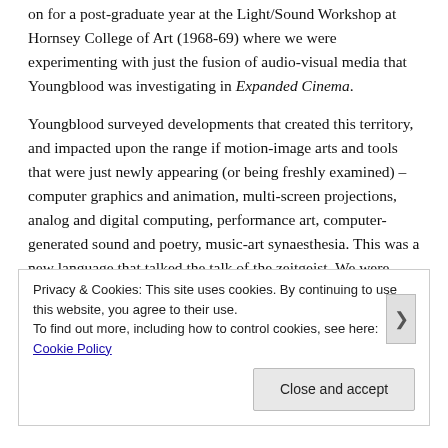on for a post-graduate year at the Light/Sound Workshop at Hornsey College of Art (1968-69) where we were experimenting with just the fusion of audio-visual media that Youngblood was investigating in Expanded Cinema.
Youngblood surveyed developments that created this territory, and impacted upon the range if motion-image arts and tools that were just newly appearing (or being freshly examined) – computer graphics and animation, multi-screen projections, analog and digital computing, performance art, computer-generated sound and poetry, music-art synaesthesia. This was a new language that talked the talk of the zeitgeist. We were hooked.
Privacy & Cookies: This site uses cookies. By continuing to use this website, you agree to their use.
To find out more, including how to control cookies, see here: Cookie Policy